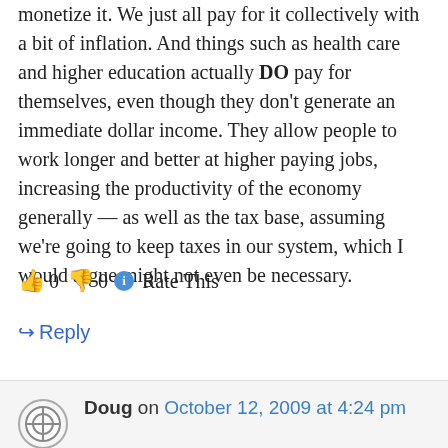monetize it. We just all pay for it collectively with a bit of inflation. And things such as health care and higher education actually DO pay for themselves, even though they don't generate an immediate dollar income. They allow people to work longer and better at higher paying jobs, increasing the productivity of the economy generally — as well as the tax base, assuming we're going to keep taxes in our system, which I would argue might not even be necessary.
👍 0 👎 0 ℹ Rate This
↪ Reply
Doug on October 12, 2009 at 4:24 pm